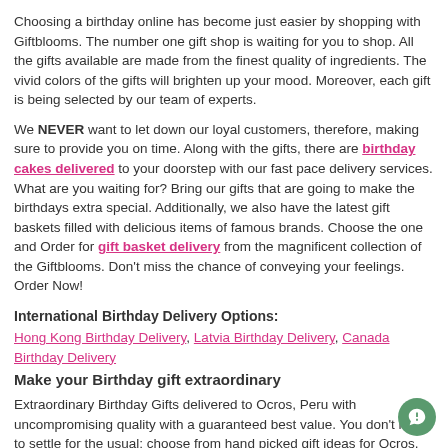Choosing a birthday online has become just easier by shopping with Giftblooms. The number one gift shop is waiting for you to shop. All the gifts available are made from the finest quality of ingredients. The vivid colors of the gifts will brighten up your mood. Moreover, each gift is being selected by our team of experts.
We NEVER want to let down our loyal customers, therefore, making sure to provide you on time. Along with the gifts, there are birthday cakes delivered to your doorstep with our fast pace delivery services. What are you waiting for? Bring our gifts that are going to make the birthdays extra special. Additionally, we also have the latest gift baskets filled with delicious items of famous brands. Choose the one and Order for gift basket delivery from the magnificent collection of the Giftblooms. Don't miss the chance of conveying your feelings. Order Now!
International Birthday Delivery Options:
Hong Kong Birthday Delivery, Latvia Birthday Delivery, Canada Birthday Delivery
Make your Birthday gift extraordinary
Extraordinary Birthday Gifts delivered to Ocros, Peru with uncompromising quality with a guaranteed best value. You don't need to settle for the usual; choose from hand picked gift ideas for Ocros, Peru using local and national couriers all to delight your recipient.
You may also like :
Birthday Gifts Acopja | Birthday Gifts Pozuzo | Birthday Gifts San Juan